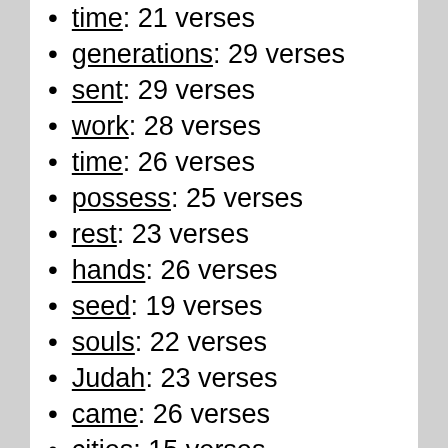generations: 29 verses
sent: 29 verses
work: 28 verses
time: 26 verses
possess: 25 verses
rest: 23 verses
hands: 26 verses
seed: 19 verses
souls: 22 verses
Judah: 23 verses
came: 26 verses
cities: 15 verses
love: 26 verses